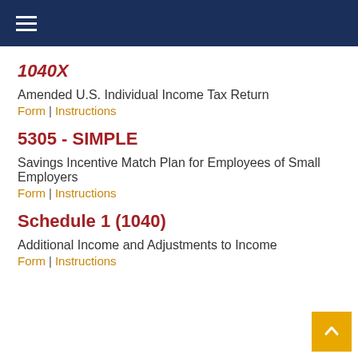Navigation header bar with hamburger menu icon
1040X
Amended U.S. Individual Income Tax Return
Form | Instructions
5305 - SIMPLE
Savings Incentive Match Plan for Employees of Small Employers
Form | Instructions
Schedule 1 (1040)
Additional Income and Adjustments to Income
Form | Instructions